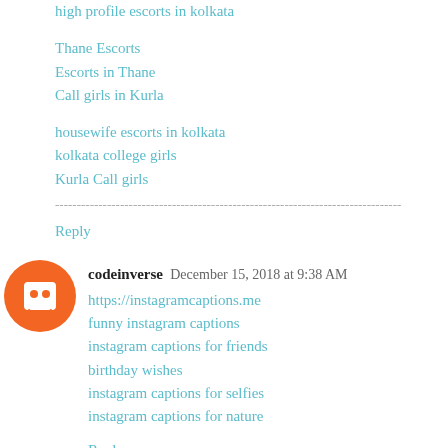high profile escorts in kolkata
Thane Escorts
Escorts in Thane
Call girls in Kurla
housewife escorts in kolkata
kolkata college girls
Kurla Call girls
--------------------------------------------------------------------------------
Reply
codeinverse  December 15, 2018 at 9:38 AM
https://instagramcaptions.me
funny instagram captions
instagram captions for friends
birthday wishes
instagram captions for selfies
instagram captions for nature
Reply